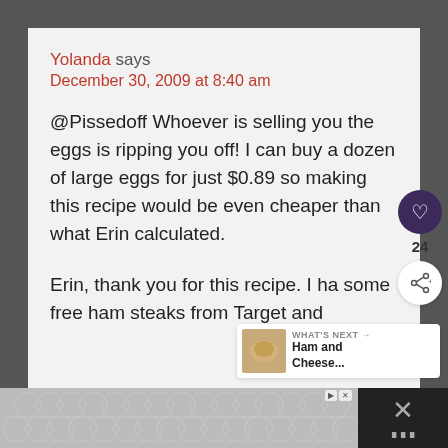Yolanda says
December 30, 2009 at 8:40 am
@Pissedoff Whoever is selling you the eggs is ripping you off! I can buy a dozen of large eggs for just $0.89 so making this recipe would be even cheaper than what Erin calculated.
Erin, thank you for this recipe. I ha… some free ham steaks from Target and
[Figure (other): Advertisement banner at the bottom of the page with hexagonal geometric pattern]
WHAT'S NEXT → Ham and Cheese...